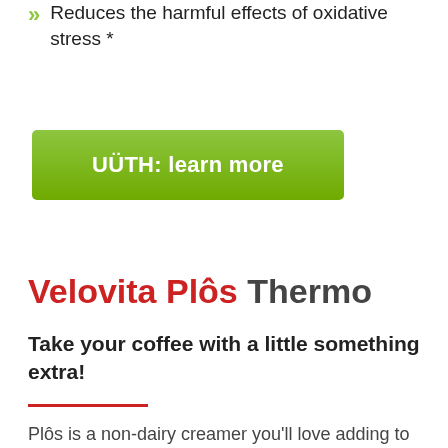Reduces the harmful effects of oxidative stress *
UÜTH: learn more
Velovita Plôs Thermo
Take your coffee with a little something extra!
Plôs is a non-dairy creamer you'll love adding to